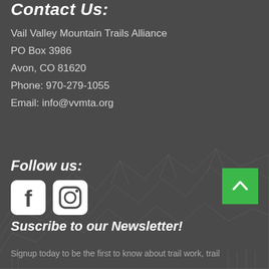Contact Us:
Vail Valley Mountain Trails Alliance
PO Box 3986
Avon, CO 81620
Phone: 970-279-1055
Email: info@vvmta.org
Follow us:
[Figure (illustration): Facebook and Instagram social media icons in white on rounded square backgrounds]
[Figure (illustration): Green back-to-top button with upward chevron arrow]
Suscribe to our Newsletter!
Signup today to be the first to know about trail work, trail